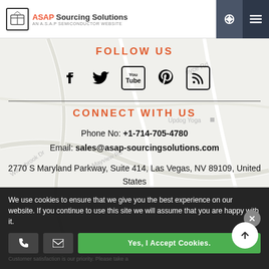ASAP Sourcing Solutions – AN A.S.A.P SEMICONDUCTOR WEBSITE
FOLLOW US
[Figure (other): Social media icons: Facebook, Twitter, YouTube, Pinterest, RSS]
CONNECT WITH US
Phone No: +1-714-705-4780
Email: sales@asap-sourcingsolutions.com
2770 S Maryland Parkway, Suite 414, Las Vegas, NV 89109, United States
We use cookies to ensure that we give you the best experience on our website. If you continue to use this site we will assume that you are happy with it.
Customer satisfaction is our priority. Please take a
Yes, I Accept Cookies.